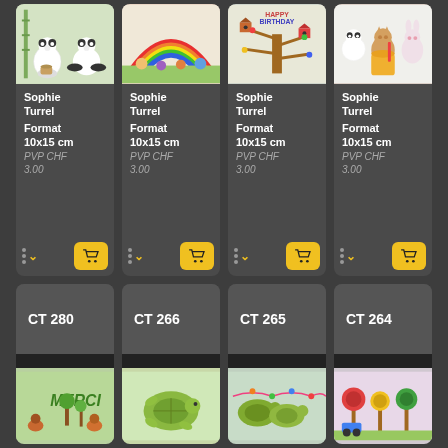[Figure (photo): Panda illustration - watercolor style pandas with bamboo]
Sophie Turrel
Format 10x15 cm
PVP CHF 3.00
[Figure (photo): Rainbow illustration - animals and rainbow watercolor]
Sophie Turrel
Format 10x15 cm
PVP CHF 3.00
[Figure (photo): Happy Birthday illustration - tree with birdhouses]
Sophie Turrel
Format 10x15 cm
PVP CHF 3.00
[Figure (photo): Animals illustration - panda, cat, rabbit]
Sophie Turrel
Format 10x15 cm
PVP CHF 3.00
CT 280
CT 266
CT 265
CT 264
[Figure (photo): Merci illustration - green MERCI letters with trees and snails]
[Figure (photo): Turtle illustration - colorful turtle]
[Figure (photo): Turtles in garden illustration]
[Figure (photo): Flower trees illustration]